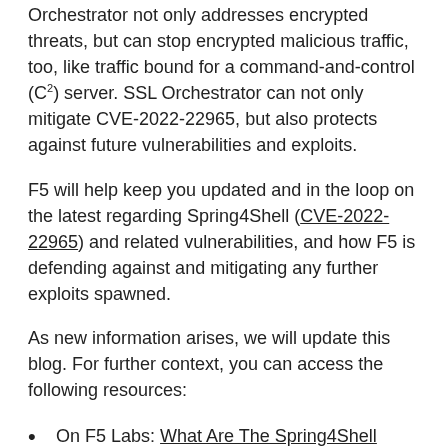Orchestrator not only addresses encrypted threats, but can stop encrypted malicious traffic, too, like traffic bound for a command-and-control (C²) server. SSL Orchestrator can not only mitigate CVE-2022-22965, but also protects against future vulnerabilities and exploits.
F5 will help keep you updated and in the loop on the latest regarding Spring4Shell (CVE-2022-22965) and related vulnerabilities, and how F5 is defending against and mitigating any further exploits spawned.
As new information arises, we will update this blog. For further context, you can access the following resources:
On F5 Labs: What Are The Spring4Shell Vulnerabilities?
On F5 DevCentral: What Are The Spring4Shell Vulnerabilities?
If you are an F5 customer, the F5 SIRT has published and will continuously update the following KB articles for information on the status of F5 products and how you can use F5 solutions to mitigate Spring4Shell: